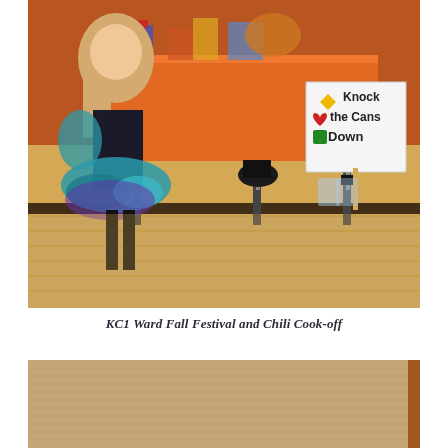[Figure (photo): Indoor scene of a young girl in a teal and purple tutu costume standing in a gymnasium or recreation room. Behind her is an orange-tablecloth-covered table with party supplies on top. A sign in the background reads 'Knock the Cans Down' with colorful geometric shapes. The floor is wood-planked.]
KC1 Ward Fall Festival and Chili Cook-off
[Figure (photo): Close-up of a tan/beige burlap or woven fabric texture with a wooden border visible at the right edge.]